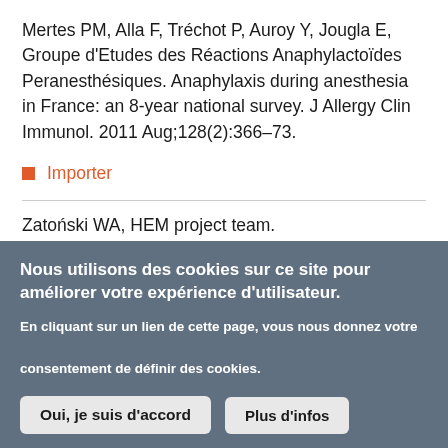Mertes PM, Alla F, Tréchot P, Auroy Y, Jougla E, Groupe d'Etudes des Réactions Anaphylactoïdes Peranesthésiques. Anaphylaxis during anesthesia in France: an 8-year national survey. J Allergy Clin Immunol. 2011 Aug;128(2):366–73.
Importer
Zatoński WA, HEM project team.
Nous utilisons des cookies sur ce site pour améliorer votre expérience d'utilisateur.
En cliquant sur un lien de cette page, vous nous donnez votre consentement de définir des cookies.